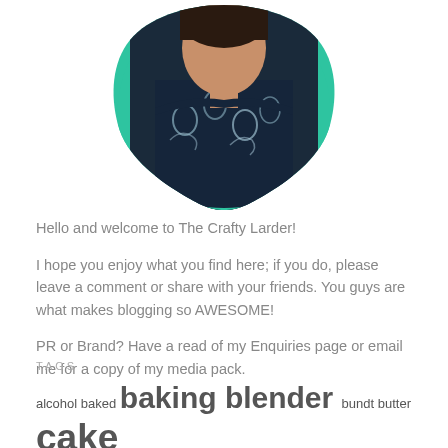[Figure (photo): Profile photo of a person wearing a floral/skull-print top, shown inside a green shield/blob-shaped frame, cropped at top of page]
Hello and welcome to The Crafty Larder!
I hope you enjoy what you find here; if you do, please leave a comment or share with your friends. You guys are what makes blogging so AWESOME!
PR or Brand? Have a read of my Enquiries page or email me for a copy of my media pack.
TAGS
alcohol baked baking blender bundt butter cake
caramel cheese chocolate charms cocktails coconut coffee